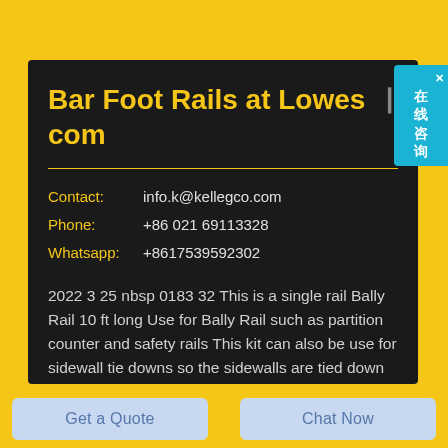Bar Foot Rails at Lowes com
Contact: info.k@kellegco.com
Phone: +86 021 69113328
Whatsapp: +8617539592302
2022 3 25 nbsp 0183 32 This is a single rail Bally Rail 10 ft long Use for Bally Rail such as partition counter and safety rails This kit can also be use for sidewall tie downs so the sidewalls are tied down especially during windy situation This set
Get a Quote
Chat Now